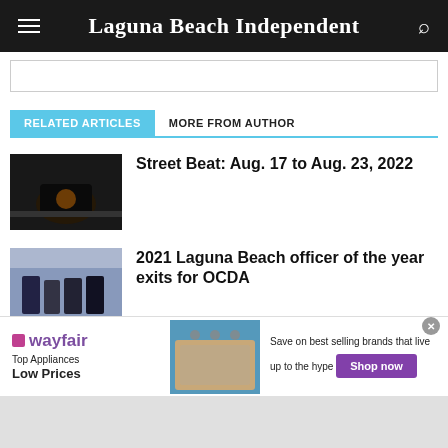Laguna Beach Independent
RELATED ARTICLES
MORE FROM AUTHOR
[Figure (photo): Night street scene photo thumbnail for Street Beat article]
Street Beat: Aug. 17 to Aug. 23, 2022
[Figure (photo): Group of people photo thumbnail for Laguna Beach officer article]
2021 Laguna Beach officer of the year exits for OCDA
[Figure (photo): Wayfair advertisement banner with appliance image]
wayfair Top Appliances Low Prices Save on best selling brands that live up to the hype Shop now